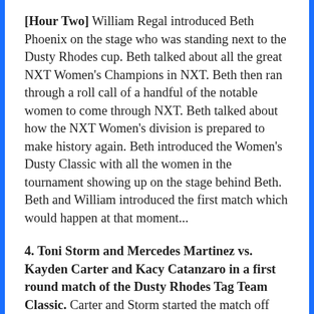[Hour Two] William Regal introduced Beth Phoenix on the stage who was standing next to the Dusty Rhodes cup. Beth talked about all the great NXT Women's Champions in NXT. Beth then ran through a roll call of a handful of the notable women to come through NXT. Beth talked about how the NXT Women's division is prepared to make history again. Beth introduced the Women's Dusty Classic with all the women in the tournament showing up on the stage behind Beth. Beth and William introduced the first match which would happen at that moment...
4. Toni Storm and Mercedes Martinez vs. Kayden Carter and Kacy Catanzaro in a first round match of the Dusty Rhodes Tag Team Classic. Carter and Storm started the match off